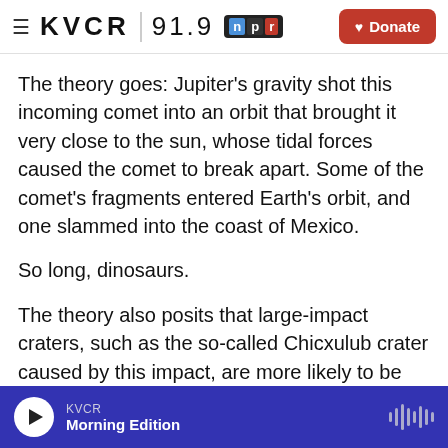KVCR 91.9 NPR | Donate
The theory goes: Jupiter's gravity shot this incoming comet into an orbit that brought it very close to the sun, whose tidal forces caused the comet to break apart. Some of the comet's fragments entered Earth's orbit, and one slammed into the coast of Mexico.
So long, dinosaurs.
The theory also posits that large-impact craters, such as the so-called Chicxulub crater caused by this impact, are more likely to be made of "carbonaceous chondrite" — a primitive material
KVCR Morning Edition